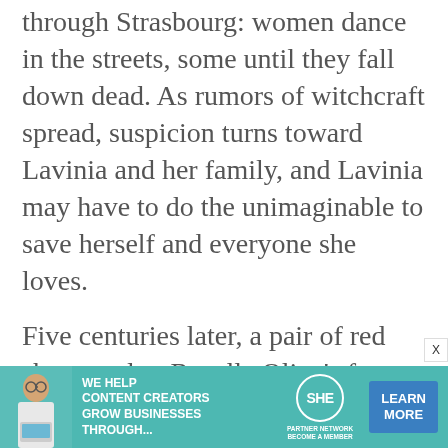through Strasbourg: women dance in the streets, some until they fall down dead. As rumors of witchcraft spread, suspicion turns toward Lavinia and her family, and Lavinia may have to do the unimaginable to save herself and everyone she loves.
Five centuries later, a pair of red shoes seal to Rosella Oliva's feet, making her dance uncontrollably. They draw her toward a boy who knows the dancing fever's history better than anyone: Emil, whose family was blamed for the fever five hundred years ago. But there's more to what happened in 1518 than even Emil knows, and discovering the truth may decide whether
[Figure (other): Advertisement banner for SHE Media Partner Network. Teal/turquoise background with a photo of a woman with glasses and laptop on the left. Text reads: 'WE HELP CONTENT CREATORS GROW BUSINESSES THROUGH...' with the SHE Media logo and a blue 'LEARN MORE' button on the right.]